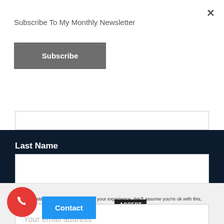Subscribe To My Monthly Newsletter
Subscribe
Last Name
Email address:
Your email address
This site uses cookies to improve your experience. We'll assume you're ok with this, but you can opt-out if you wish.
Cookie settings
ACCEPT
Contact